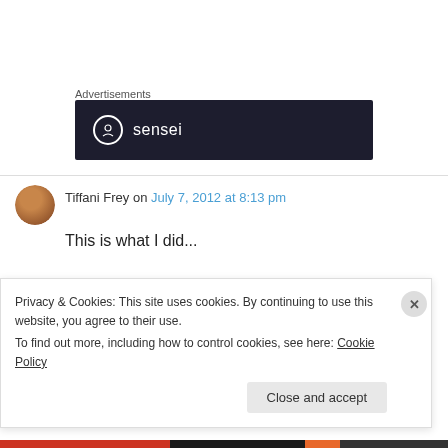Advertisements
[Figure (logo): Sensei logo — dark navy banner with white circular icon and 'sensei' text in white]
Tiffani Frey on July 7, 2012 at 8:13 pm
This is what I did...
In WP, go to Settings, Domains, and in the drop
Privacy & Cookies: This site uses cookies. By continuing to use this website, you agree to their use.
To find out more, including how to control cookies, see here: Cookie Policy
Close and accept